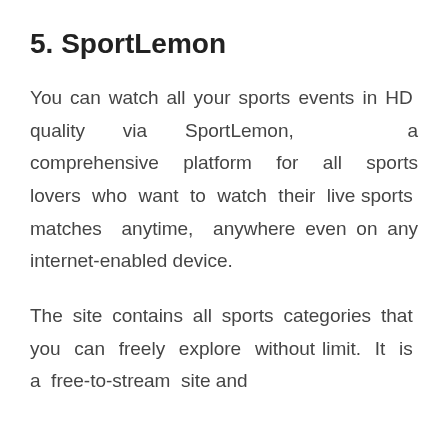5. SportLemon
You can watch all your sports events in HD quality via SportLemon, a comprehensive platform for all sports lovers who want to watch their live sports matches anytime, anywhere even on any internet-enabled device.
The site contains all sports categories that you can freely explore without limit. It is a free-to-stream site and